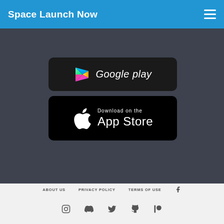Space Launch Now
[Figure (screenshot): Google Play store download button with Google Play logo and text 'Google play' on dark background]
[Figure (screenshot): Apple App Store download button with Apple logo and text 'Download on the App Store' on black background]
ABOUT US   PRIVACY POLICY   TERMS OF USE   [Facebook icon]   [Instagram icon]   [Discord icon]   [Twitter icon]   [GitHub icon]   [Patreon icon]